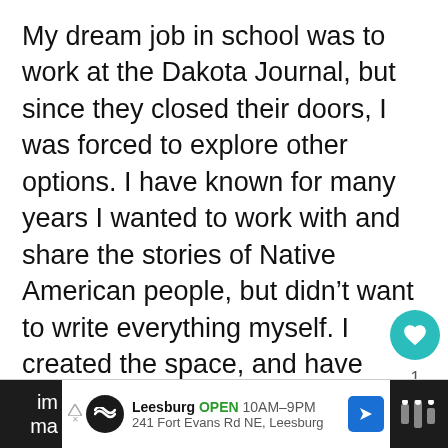My dream job in school was to work at the Dakota Journal, but since they closed their doors, I was forced to explore other options. I have known for many years I wanted to work with and share the stories of Native American people, but didn't want to write everything myself. I created the space, and have been abundantly blessed to have so many talented writers, photographers, and contributors joi me on this journey.
Q) What can we expect from a typica. What do you think are some of the most
[Figure (screenshot): Advertisement bar at bottom: Leesburg OPEN 10AM-9PM, 241 Fort Evans Rd NE, Leesburg. Social UI overlay with heart button (teal), share button, 'What's Next' panel showing 'A Hero Finds A Home in t...']